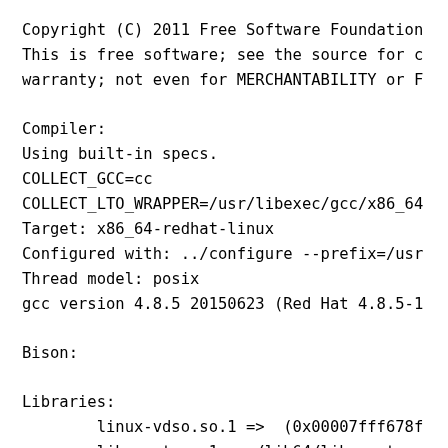Copyright (C) 2011 Free Software Foundation
This is free software; see the source for c
warranty; not even for MERCHANTABILITY or F
Compiler:
Using built-in specs.
COLLECT_GCC=cc
COLLECT_LTO_WRAPPER=/usr/libexec/gcc/x86_64
Target: x86_64-redhat-linux
Configured with: ../configure --prefix=/usr
Thread model: posix
gcc version 4.8.5 20150623 (Red Hat 4.8.5-1
Bison:
Libraries:
        linux-vdso.so.1 =>  (0x00007fff678f
        libcrypt.so.1 => /lib64/libcrypt.so